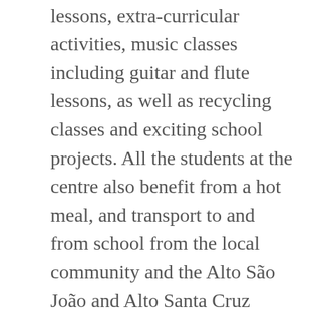children, to offer taught lessons, extra-curricular activities, music classes including guitar and flute lessons, as well as recycling classes and exciting school projects. All the students at the centre also benefit from a hot meal, and transport to and from school from the local community and the Alto São João and Alto Santa Cruz areas. The AACTB now has 13 exceptional staff that work across the project including press school teachers, social worker, psychologist, driver, concierge, cook and caretaker. Wanting to support the extraordinary work the Association does, The Cape Verde Foundation donated toys, school supplies, clothes and shoes this December to help keep the committed project going through into the New Year and to continue with its positive impact on the Cape Verde